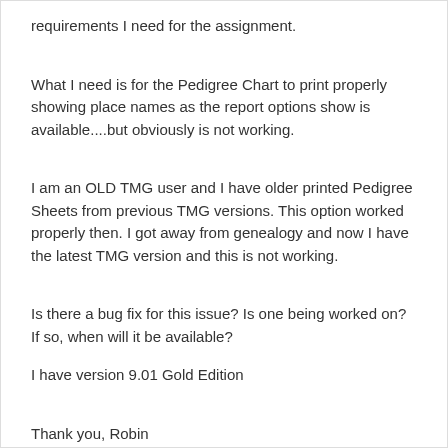requirements I need for the assignment.
What I need is for the Pedigree Chart to print properly showing place names as the report options show is available....but obviously is not working.
I am an OLD TMG user and I have older printed Pedigree Sheets from previous TMG versions. This option worked properly then. I got away from genealogy and now I have the latest TMG version and this is not working.
Is there a bug fix for this issue? Is one being worked on? If so, when will it be available?
I have version 9.01 Gold Edition
Thank you, Robin